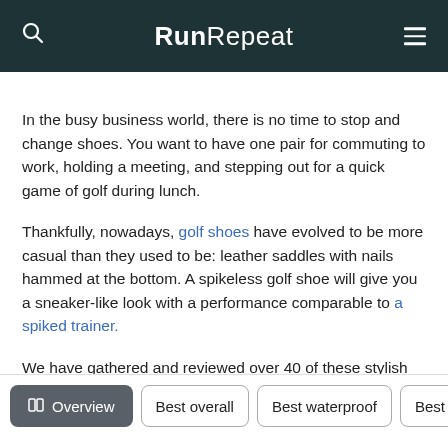RunRepeat
In the busy business world, there is no time to stop and change shoes. You want to have one pair for commuting to work, holding a meeting, and stepping out for a quick game of golf during lunch.
Thankfully, nowadays, golf shoes have evolved to be more casual than they used to be: leather saddles with nails hammed at the bottom. A spikeless golf shoe will give you a sneaker-like look with a performance comparable to a spiked trainer.
We have gathered and reviewed over 40 of these stylish options to help you find the best one.
Overview | Best overall | Best waterproof | Best Nike